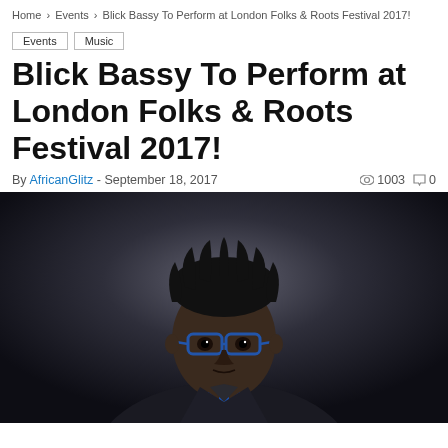Home › Events › Blick Bassy To Perform at London Folks & Roots Festival 2017!
Events
Music
Blick Bassy To Perform at London Folks & Roots Festival 2017!
By AfricanGlitz - September 18, 2017  1003  0
[Figure (photo): Portrait photo of Blick Bassy — a man wearing blue-framed glasses and a blue bow tie, with natural hair, looking directly at the camera against a dark background.]